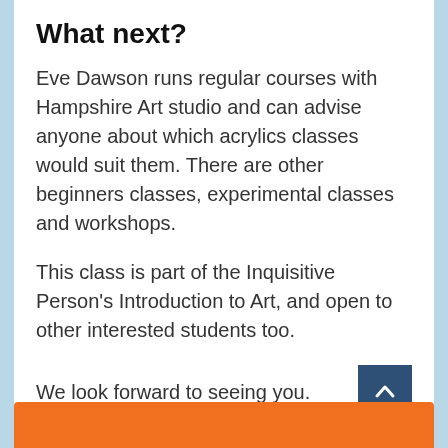What next?
Eve Dawson runs regular courses with Hampshire Art studio and can advise anyone about which acrylics classes would suit them. There are other beginners classes, experimental classes and workshops.
This class is part of the Inquisitive Person's Introduction to Art, and open to other interested students too.
We look forward to seeing you.